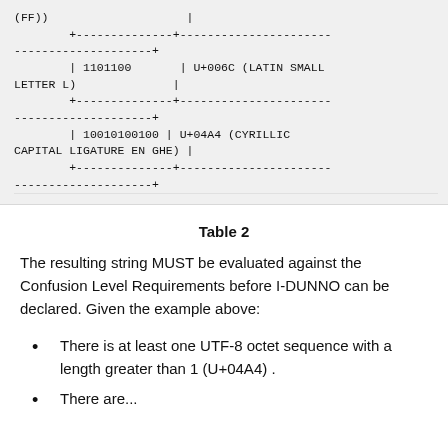[Figure (other): Code block showing ASCII table rows with binary and Unicode code point entries: (FF)), 1101100 | U+006C (LATIN SMALL LETTER L), 10010100100 | U+04A4 (CYRILLIC CAPITAL LIGATURE EN GHE), with table border lines.]
Table 2
The resulting string MUST be evaluated against the Confusion Level Requirements before I-DUNNO can be declared. Given the example above:
There is at least one UTF-8 octet sequence with a length greater than 1 (U+04A4) .
There are...